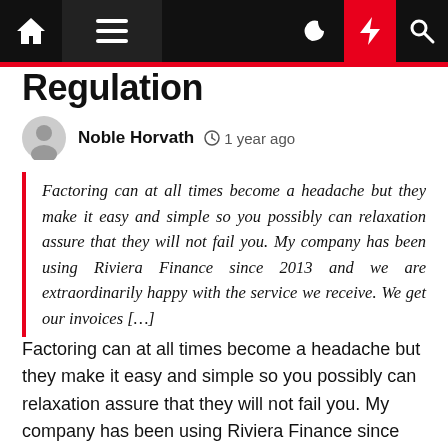Regulation
Noble Horvath  1 year ago
Factoring can at all times become a headache but they make it easy and simple so you possibly can relaxation assure that they will not fail you. My company has been using Riviera Finance since 2013 and we are extraordinarily happy with the service we receive. We get our invoices […]
Factoring can at all times become a headache but they make it easy and simple so you possibly can relaxation assure that they will not fail you. My company has been using Riviera Finance since 2013 and we are extraordinarily happy with the service we